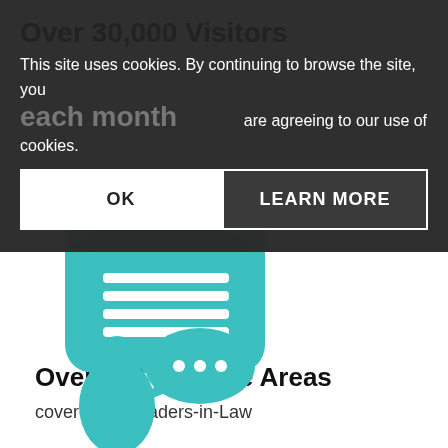Over 30,000 Visitors
This site uses cookies. By continuing to browse the site, you are agreeing to our use of cookies.
each month
[Figure (illustration): Teal inbox/mail tray icon with horizontal lines representing documents]
Over 100 Practice Areas
covered by Leaders-in-Law
[Figure (illustration): Teal person with speech bubbles icon representing communication or consultation]